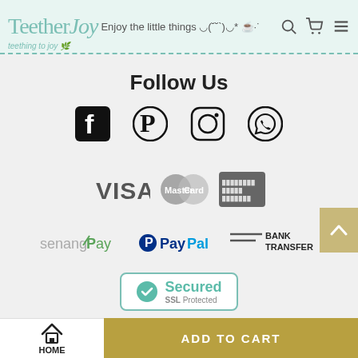TeetherJoy – Enjoy the little things
Follow Us
[Figure (logo): Social media icons: Facebook, Pinterest, Instagram, WhatsApp]
[Figure (logo): Payment methods: VISA, MasterCard, American Express]
[Figure (logo): Payment methods: senangPay, PayPal, Bank Transfer]
[Figure (logo): Secured SSL Protected badge]
HOME | ADD TO CART